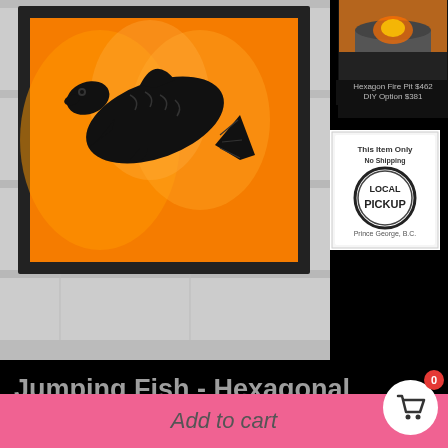[Figure (photo): Main product image of a Jumping Fish Hexagonal Bowl Fire Panel - black metal fish silhouette cutout against orange flame background, mounted on grey wood paneling]
[Figure (photo): Small thumbnail of Hexagon Fire Pit $462 DIY Option $381 product]
[Figure (photo): This Item Only No Shipping LOCAL PICKUP Prince George, B.C. badge image]
Jumping Fish - Hexagonal Bowl Fire Panel
$67.00
Add to cart